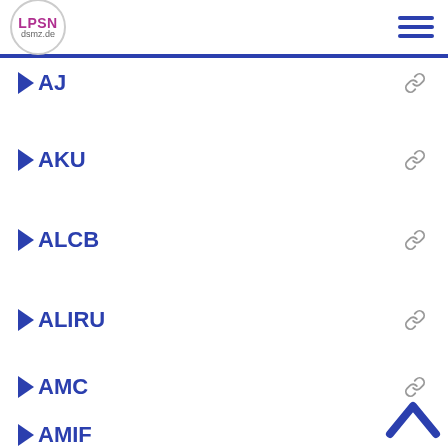LPSN dsmz.de
AJ
AKU
ALCB
ALIRU
AMC
AMIF